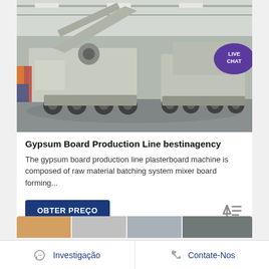[Figure (photo): Industrial mobile crushing/screening machinery (two large grey machines on wheels) inside a factory/warehouse setting. A 'LIVE CHAT' speech bubble badge is overlaid in the top-right corner of the photo.]
Gypsum Board Production Line bestinagency
The gypsum board production line plasterboard machine is composed of raw material batching system mixer board forming...
OBTER PREÇO
[Figure (photo): Partial thumbnail strip of product/machinery images at the bottom of the card.]
Investigação
Contate-Nos